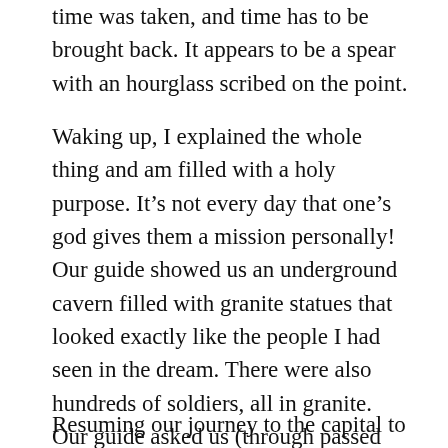time was taken, and time has to be brought back. It appears to be a spear with an hourglass scribed on the point.
Waking up, I explained the whole thing and am filled with a holy purpose. It’s not every day that one’s god gives them a mission personally! Our guide showed us an underground cavern filled with granite statues that looked exactly like the people I had seen in the dream. There were also hundreds of soldiers, all in granite. Our guide asked us (through passed notes) if we felt older (apparently, we did), and that we should leave immediately.
Resuming our journey to the capital to get the